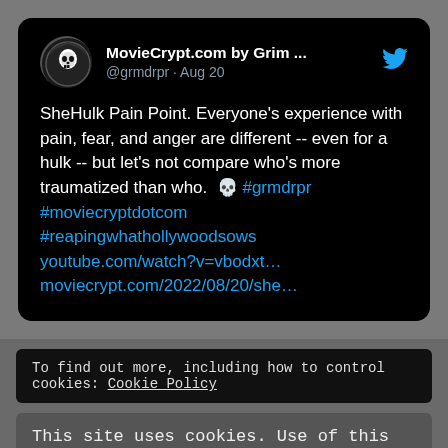[Figure (screenshot): A tweet card from @grmdrpr (MovieCrypt.com by Grim ...) dated Aug 20, with a skull avatar on a black background, and a Twitter bird icon. Tweet text: 'SheHulk Pain Point. Everyone's experience with pain, fear, and anger are different -- even for a hulk -- but let's not compare who's more traumatized than who. 💀 #grmdrpr #moviecryptdotcom #reapingwhathollywoodsows youtube.com/watch?v=vbodxt… moviecrypt.com/2022/08/20/she…']
To find out more, including how to control cookies: Cookie Policy
This site uses cookies. Use of this website constitutes agreement